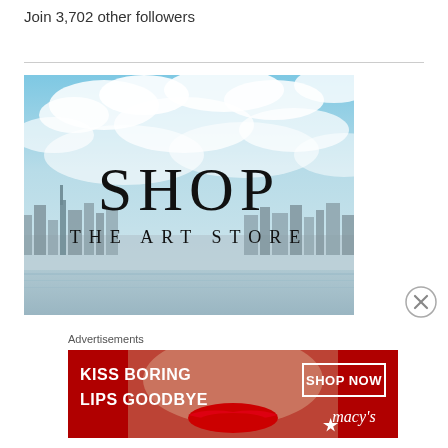Join 3,702 other followers
[Figure (illustration): Shop The Art Store advertisement showing a city skyline (New York) with sky and clouds, large serif text reading 'SHOP' and 'THE ART STORE']
[Figure (illustration): Close/dismiss button (circled X) for advertisement]
Advertisements
[Figure (illustration): Macy's advertisement banner: 'KISS BORING LIPS GOODBYE' with woman's face showing red lips, 'SHOP NOW' button, Macy's star logo on red background]